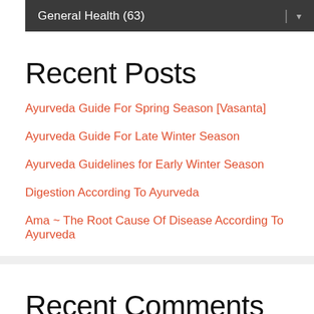General Health  (63)
Recent Posts
Ayurveda Guide For Spring Season [Vasanta]
Ayurveda Guide For Late Winter Season
Ayurveda Guidelines for Early Winter Season
Digestion According To Ayurveda
Ama ~ The Root Cause Of Disease According To Ayurveda
Recent Comments
No comments to show.